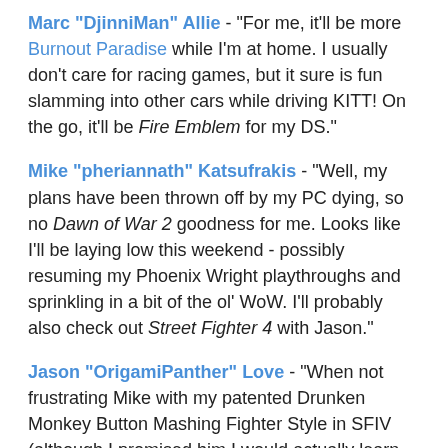Marc "DjinniMan" Allie - "For me, it'll be more Burnout Paradise while I'm at home. I usually don't care for racing games, but it sure is fun slamming into other cars while driving KITT! On the go, it'll be Fire Emblem for my DS."
Mike "pheriannath" Katsufrakis - "Well, my plans have been thrown off by my PC dying, so no Dawn of War 2 goodness for me. Looks like I'll be laying low this weekend - possibly resuming my Phoenix Wright playthroughs and sprinkling in a bit of the ol' WoW. I'll probably also check out Street Fighter 4 with Jason."
Jason "OrigamiPanther" Love - "When not frustrating Mike with my patented Drunken Monkey Button Mashing Fighter Style in SFIV (although I promised him I would actually learn the game this time), I'll be